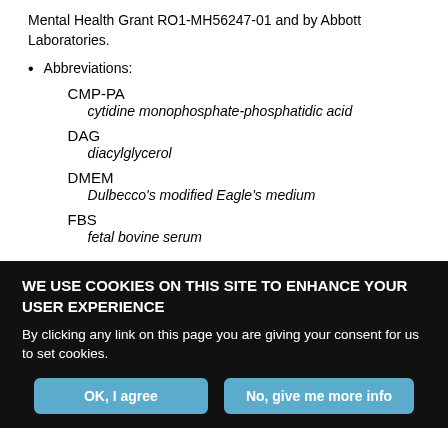Mental Health Grant RO1-MH56247-01 and by Abbott Laboratories.
Abbreviations:
CMP-PA
  cytidine monophosphate-phosphatidic acid
DAG
  diacylglycerol
DMEM
  Dulbecco's modified Eagle's medium
FBS
  fetal bovine serum
WE USE COOKIES ON THIS SITE TO ENHANCE YOUR USER EXPERIENCE
By clicking any link on this page you are giving your consent for us to set cookies.